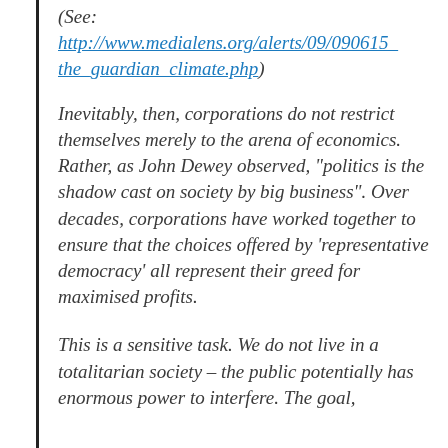(See: http://www.medialens.org/alerts/09/090615_the_guardian_climate.php)
Inevitably, then, corporations do not restrict themselves merely to the arena of economics. Rather, as John Dewey observed, “politics is the shadow cast on society by big business”. Over decades, corporations have worked together to ensure that the choices offered by ‘representative democracy’ all represent their greed for maximised profits.
This is a sensitive task. We do not live in a totalitarian society – the public potentially has enormous power to interfere. The goal,